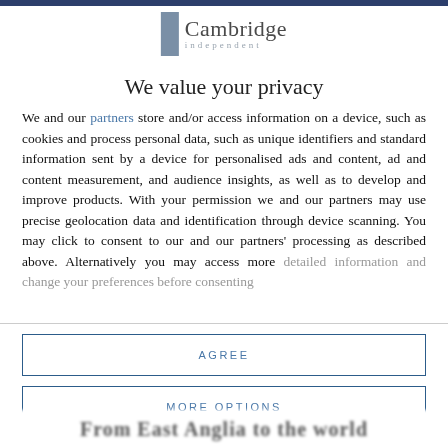[Figure (logo): Cambridge Independent logo with grey rectangle and text]
We value your privacy
We and our partners store and/or access information on a device, such as cookies and process personal data, such as unique identifiers and standard information sent by a device for personalised ads and content, ad and content measurement, and audience insights, as well as to develop and improve products. With your permission we and our partners may use precise geolocation data and identification through device scanning. You may click to consent to our and our partners' processing as described above. Alternatively you may access more detailed information and change your preferences before consenting
AGREE
MORE OPTIONS